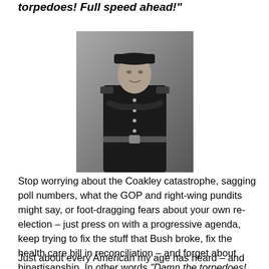torpedoes! Full speed ahead!"
[Figure (photo): Black and white photograph of a naval officer in dress uniform with cap, standing with arms crossed]
Stop worrying about the Coakley catastrophe, sagging poll numbers, what the GOP and right-wing pundits might say, or foot-dragging fears about your own re-election – just press on with a progressive agenda, keep trying to fix the stuff that Bush broke, fix the health care bill in reconciliation – and forget about bipartisanship. In other words,“Damn the torpedoes! Full speed ahead!”
Just about every American my age has heard – and used